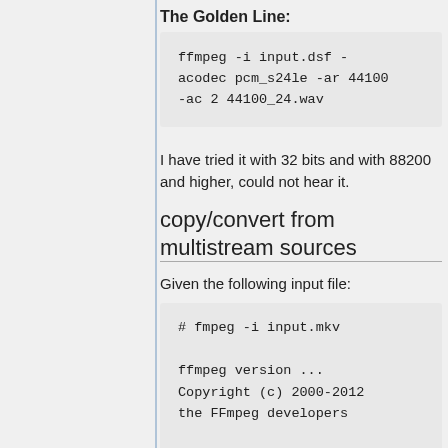The Golden Line:
ffmpeg -i input.dsf -acodec pcm_s24le -ar 44100 -ac 2 44100_24.wav
I have tried it with 32 bits and with 88200 and higher, could not hear it.
copy/convert from multistream sources
Given the following input file:
# fmpeg -i input.mkv

ffmpeg version ...
Copyright (c) 2000-2012
the FFmpeg developers

...
Input #0, matroska,webm,